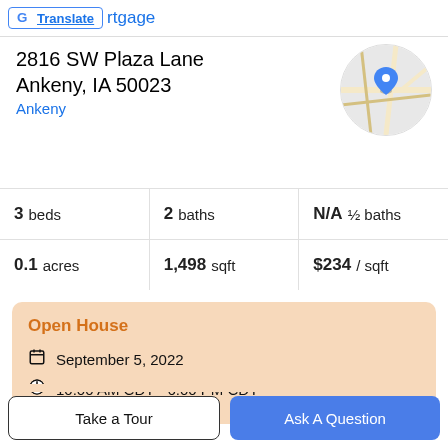Translate | rtgage
2816 SW Plaza Lane
Ankeny, IA 50023
Ankeny
[Figure (map): Circular map thumbnail showing street map with blue location pin marker]
|  |  |  |
| --- | --- | --- |
| 3 beds | 2 baths | N/A ½ baths |
| 0.1 acres | 1,498 sqft | $234 / sqft |
Open House
September 5, 2022
10:00 AM CDT - 6:00 PM CDT
Take a Tour
Ask A Question